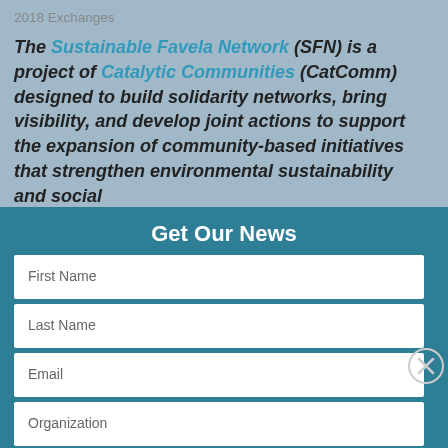2018 Exchanges
The Sustainable Favela Network (SFN) is a project of Catalytic Communities (CatComm) designed to build solidarity networks, bring visibility, and develop joint actions to support the expansion of community-based initiatives that strengthen environmental sustainability and social
Get Our News
First Name
Last Name
Email
Organization
Country
Subscribe